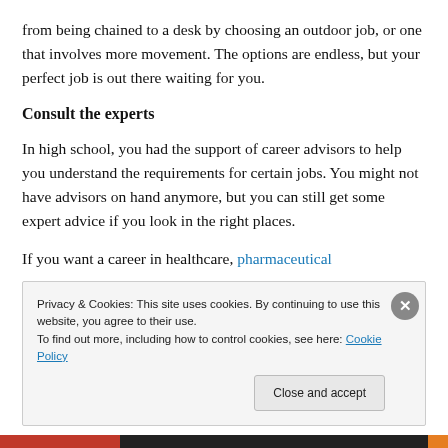from being chained to a desk by choosing an outdoor job, or one that involves more movement. The options are endless, but your perfect job is out there waiting for you.
Consult the experts
In high school, you had the support of career advisors to help you understand the requirements for certain jobs. You might not have advisors on hand anymore, but you can still get some expert advice if you look in the right places.
If you want a career in healthcare, pharmaceutical
Privacy & Cookies: This site uses cookies. By continuing to use this website, you agree to their use.
To find out more, including how to control cookies, see here: Cookie Policy
Close and accept